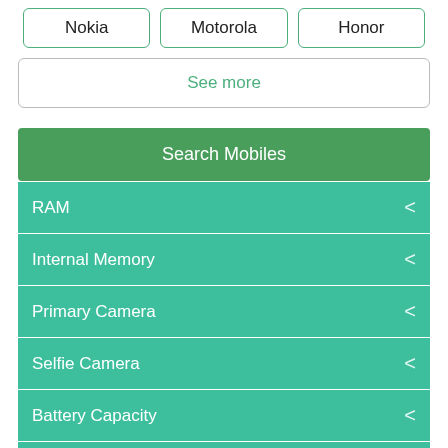Nokia
Motorola
Honor
See more
Search Mobiles
RAM
Internal Memory
Primary Camera
Selfie Camera
Battery Capacity
Network Type
Display Size
Camera Features